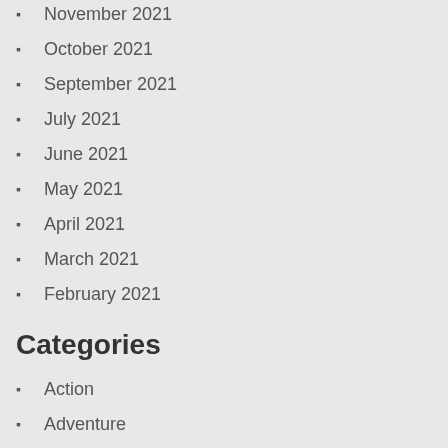November 2021
October 2021
September 2021
July 2021
June 2021
May 2021
April 2021
March 2021
February 2021
Categories
Action
Adventure
Casual
Indie
Mac Games
PC Games